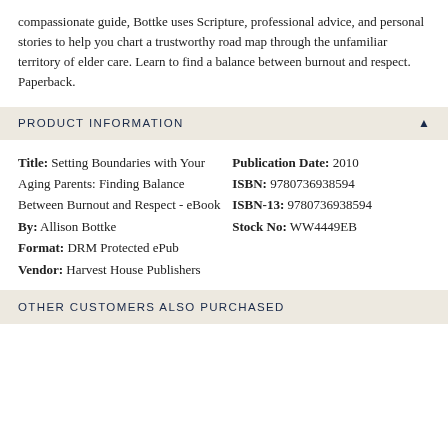compassionate guide, Bottke uses Scripture, professional advice, and personal stories to help you chart a trustworthy road map through the unfamiliar territory of elder care. Learn to find a balance between burnout and respect. Paperback.
PRODUCT INFORMATION
| Title: Setting Boundaries with Your Aging Parents: Finding Balance Between Burnout and Respect - eBook | Publication Date: 2010 |
| By: Allison Bottke | ISBN: 9780736938594 |
| Format: DRM Protected ePub | ISBN-13: 9780736938594 |
| Vendor: Harvest House Publishers | Stock No: WW4449EB |
OTHER CUSTOMERS ALSO PURCHASED